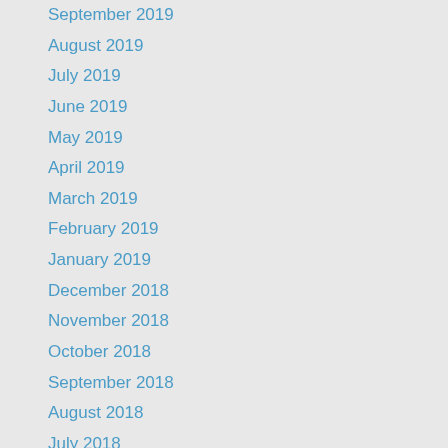September 2019
August 2019
July 2019
June 2019
May 2019
April 2019
March 2019
February 2019
January 2019
December 2018
November 2018
October 2018
September 2018
August 2018
July 2018
June 2018
May 2018
April 2018
March 2018
February 2018
January 2018